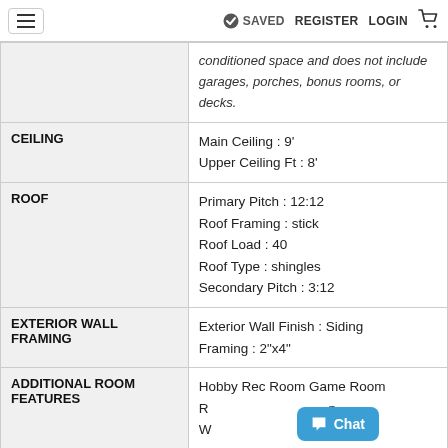SAVED  REGISTER  LOGIN
|  | conditioned space and does not include garages, porches, bonus rooms, or decks. |
| CEILING | Main Ceiling : 9'
Upper Ceiling Ft : 8' |
| ROOF | Primary Pitch : 12:12
Roof Framing : stick
Roof Load : 40
Roof Type : shingles
Secondary Pitch : 3:12 |
| EXTERIOR WALL FRAMING | Exterior Wall Finish : Siding
Framing : 2"x4" |
| ADDITIONAL ROOM FEATURES | Hobby Rec Room Game Room
R... n
W... |